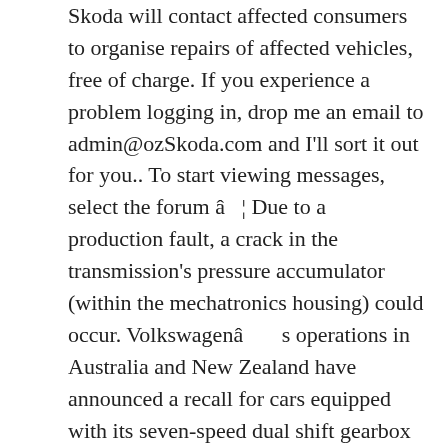Skoda will contact affected consumers to organise repairs of affected vehicles, free of charge. If you experience a problem logging in, drop me an email to admin@ozSkoda.com and I'll sort it out for you.. To start viewing messages, select the forum â ¦ Due to a production fault, a crack in the transmission's pressure accumulator (within the mechatronics housing) could occur. Volkswagenâ s operations in Australia and New Zealand have announced a recall for cars equipped with its seven-speed dual shift gearbox (DSG). Explore KODIAQ Accessories. The company also manufactures Skoda, which says more than 1,700 of its vehicles will be included in the recall. Volkswagen Group Australia has issued a recall for up to 80,000 vehicles over dangerous DSG gearbox failures. VOLKSWAGON DSG DUD. The 2021 Skoda Octavia will touch down in local showrooms at